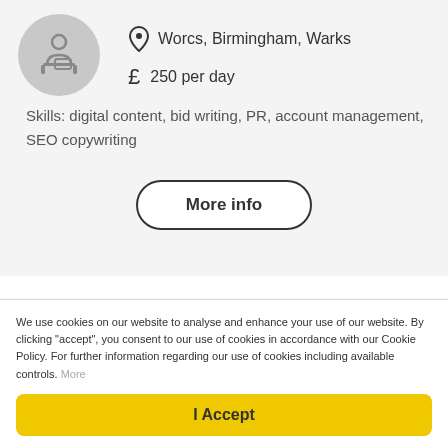Worcs, Birmingham, Warks
250 per day
Skills: digital content, bid writing, PR, account management, SEO copywriting
More info
Junior Graphic Designer
We use cookies on our website to analyse and enhance your use of our website. By clicking "accept", you consent to our use of cookies in accordance with our Cookie Policy. For further information regarding our use of cookies including available controls. More
I Accept